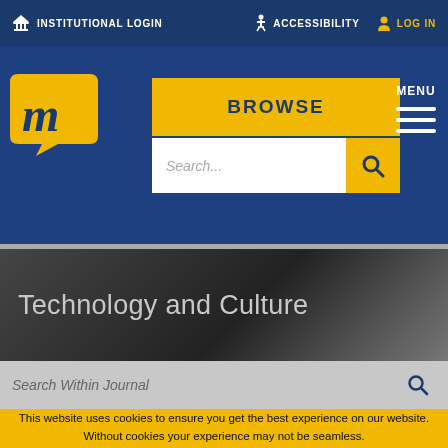INSTITUTIONAL LOGIN   ACCESSIBILITY   LOG IN
[Figure (logo): Muse Project logo: gold letter m in a speech bubble on dark blue background]
BROWSE
Search...
MENU
Technology and Culture
Search Within Journal
This website uses cookies to ensure you get the best experience on our website. Without cookies your experience may not be seamless.
Accept